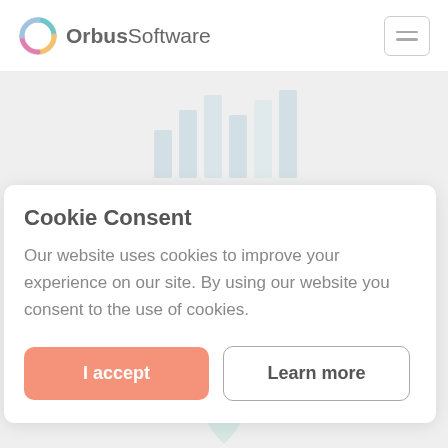[Figure (logo): Orbus Software logo with circular gradient icon and text 'OrbusSoftware' next to it, plus hamburger menu icon]
Cookie Consent
Our website uses cookies to improve your experience on our site. By using our website you consent to the use of cookies.
I accept
Learn more